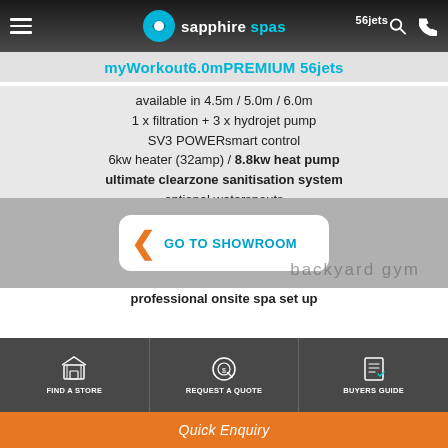Sapphire Spas — myWorkout6.0mPREMIUM 56jets
myWorkout6.0mPREMIUM 56jets
available in 4.5m / 5.0m / 6.0m
1 x filtration + 3 x hydrojet pump
SV3 POWERsmart control
6kw heater (32amp) / 8.8kw heat pump
ultimate clearzone sanitisation system
optional waterspouts
LED waterline lighting
lockable hardcover included
cabinet available in EnviroGum or Duratek
deluxe chemical kit with every spa
professional onsite spa set up
GO TO SHOWROOM
backyard gym
FIND A STORE | REQUEST A QUOTE | BUYERS GUIDE
Quick Enquiry